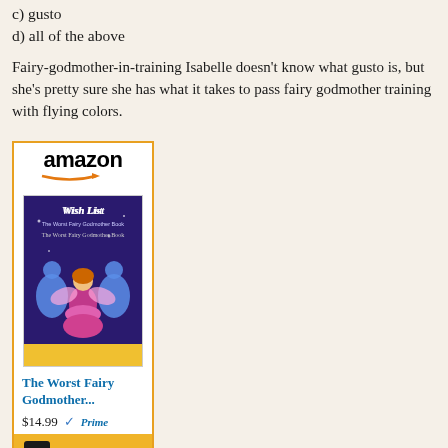c) gusto
d) all of the above
Fairy-godmother-in-training Isabelle doesn't know what gusto is, but she's pretty sure she has what it takes to pass fairy godmother training with flying colors.
[Figure (other): Amazon product widget showing 'The Worst Fairy Godmother...' book priced at $14.99 with Prime badge and Shop now button]
My Take on the Book
This was a very funny book that allows you to see a fairy godmother in training that may not be the best fairy godmother but